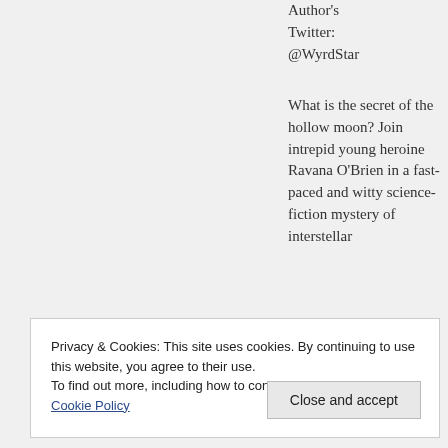Author's Twitter: @WyrdStar
What is the secret of the hollow moon? Join intrepid young heroine Ravana O'Brien in a fast-paced and witty science-fiction mystery of interstellar
Privacy & Cookies: This site uses cookies. By continuing to use this website, you agree to their use.
To find out more, including how to control cookies, see here: Cookie Policy
Close and accept